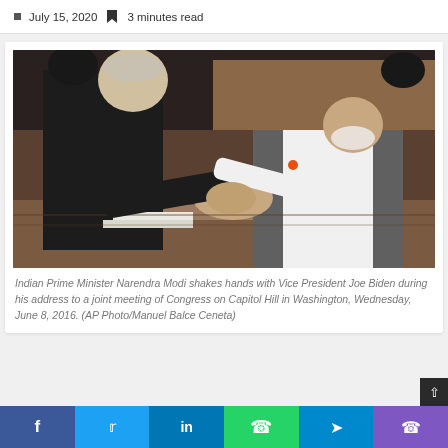July 15, 2020  3 minutes read
[Figure (photo): Indian Prime Minister Narendra Modi shakes hands with Vice President Joe Biden during a joint meeting of Congress on Capitol Hill in Washington, Wednesday, June 8, 2016.]
Indian Prime Minister Narendra Modi shakes hands with Vice President Joe Biden during his address to a joint meeting of Congress on Capitol Hill in Washington, Wednesday, June 8, 2016. (AP Photo/Manuel Balce Ceneta)